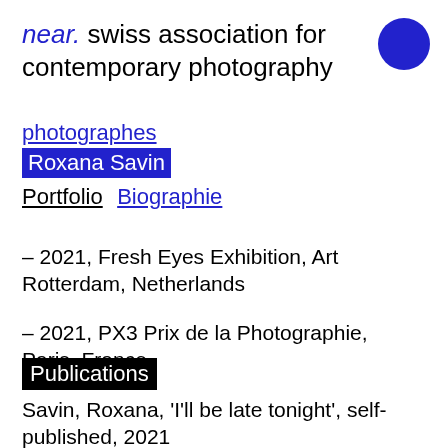near. swiss association for contemporary photography
photographes
Roxana Savin
Portfolio  Biographie
– 2021, Fresh Eyes Exhibition, Art Rotterdam, Netherlands
– 2021, PX3 Prix de la Photographie, Paris, France
Publications
Savin, Roxana, 'I'll be late tonight', self-published, 2021